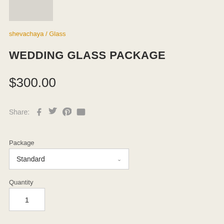[Figure (photo): Small grey image placeholder in top-left corner]
shevachaya / Glass
WEDDING GLASS PACKAGE
$300.00
Share: [Facebook icon] [Twitter icon] [Pinterest icon] [Email icon]
Package
Standard
Quantity
1